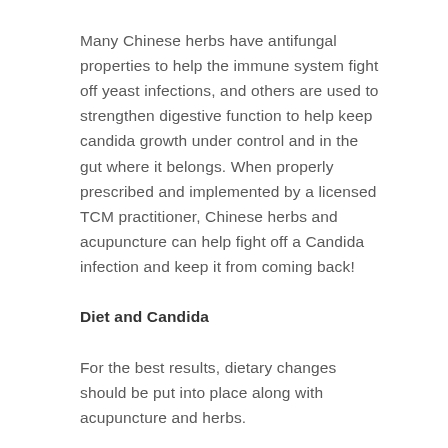Many Chinese herbs have antifungal properties to help the immune system fight off yeast infections, and others are used to strengthen digestive function to help keep candida growth under control and in the gut where it belongs. When properly prescribed and implemented by a licensed TCM practitioner, Chinese herbs and acupuncture can help fight off a Candida infection and keep it from coming back!
Diet and Candida
For the best results, dietary changes should be put into place along with acupuncture and herbs.